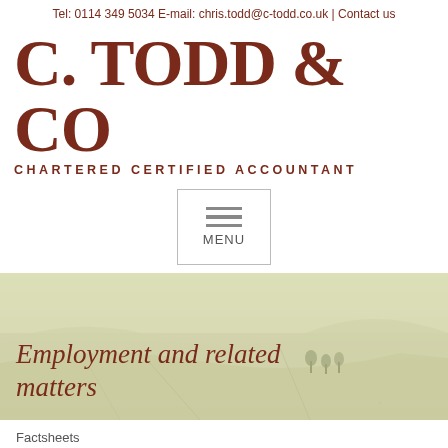Tel: 0114 349 5034 E-mail: chris.todd@c-todd.co.uk | Contact us
[Figure (logo): C. TODD & CO Chartered Certified Accountant logo in dark red serif font]
[Figure (other): Navigation menu button with three horizontal lines and MENU label]
[Figure (photo): Aerial or landscape photo of green countryside fields with trees, used as hero banner background]
Employment and related matters
Factsheets